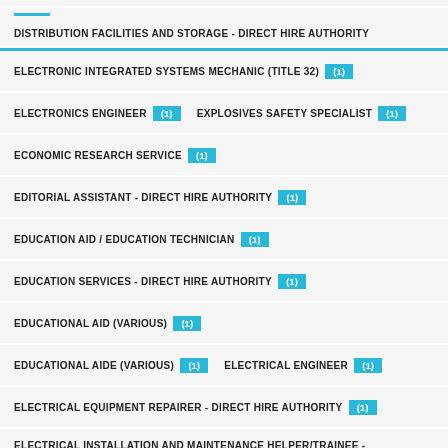DISTRIBUTION FACILITIES AND STORAGE - DIRECT HIRE AUTHORITY
ELECTRONIC INTEGRATED SYSTEMS MECHANIC (TITLE 32) (1)
ELECTRONICS ENGINEER (1)   EXPLOSIVES SAFETY SPECIALIST (1)
ECONOMIC RESEARCH SERVICE (1)
EDITORIAL ASSISTANT - DIRECT HIRE AUTHORITY (1)
EDUCATION AID / EDUCATION TECHNICIAN (1)
EDUCATION SERVICES - DIRECT HIRE AUTHORITY (1)
EDUCATIONAL AID (VARIOUS) (1)
EDUCATIONAL AIDE (VARIOUS) (1)   ELECTRICAL ENGINEER (1)
ELECTRICAL EQUIPMENT REPAIRER - DIRECT HIRE AUTHORITY (1)
ELECTRICAL INSTALLATION AND MAINTENANCE HELPER/TRAINEE - DIRECT HIRE AUTHORITY
ELECTRICIAN (1)   ELECTRICIAN - DIRECT HIRE AUTHORITY (1)
ELECTRICIAN-DIRECT HIRE AUTHORITY (1)